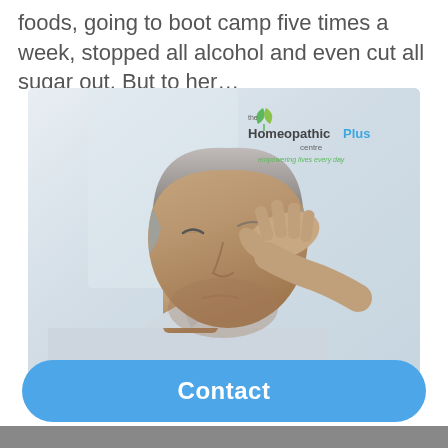foods, going to boot camp five times a week, stopped all alcohol and even cut all sugar out. But to her…
[Figure (photo): Middle-aged man with gray stubble holding his hand to his temple, appearing to have a headache or stress. The Homeopathic Plus Centre logo is overlaid in the upper right corner.]
Contact